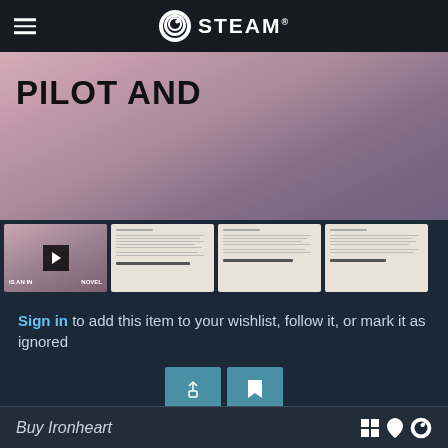STEAM
[Figure (screenshot): Game screenshot showing text 'PILOT AND' on a pinkish-purple atmospheric background]
[Figure (screenshot): Thumbnail row: video thumbnail with play button showing 'IS AN INTERACTIVE NOVEL', and three document/screenshot thumbnails]
Sign in to add this item to your wishlist, follow it, or mark it as ignored
[Figure (other): Two action buttons: share button (upload icon) and flag button]
Buy Ironheart